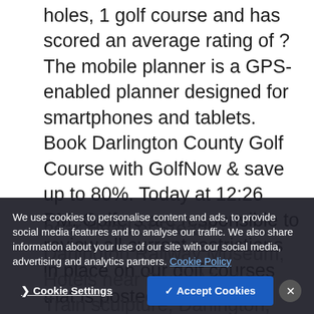holes, 1 golf course and has scored an average rating of ? The mobile planner is a GPS-enabled planner designed for smartphones and tablets. Book Darlington County Golf Course with GolfNow & save up to 80%. Today at 12:26 PM. Golfers are responsible to review all current restrictions in place on our golf courses that is posted on the home page. Hurry, the best deals at our best golf courses … User Photos of Darlington Golf Course. more, Hotels with Complimentary Breakfast in Darlington, Hotels near Head of Steam - Darlington Railway Museum, Hotels near David Mach's Train sculpture, Darlington, Hotels near Paddock Farm Nurseries Walled Gardens, Hotels near (MME) Durham Tees Valley Airport, Things to do near (NCL) Newcastle...
We use cookies to personalise content and ads, to provide social media features and to analyse our traffic. We also share information about your use of our site with our social media, advertising and analytics partners. Cookie Policy